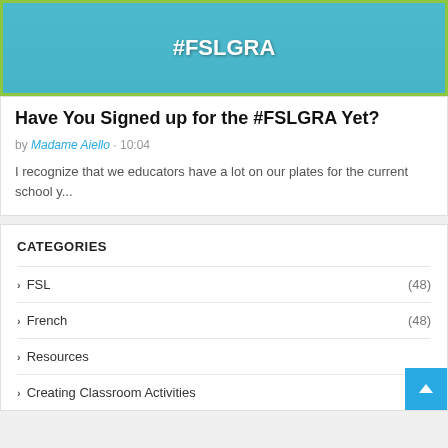[Figure (photo): Banner image with text FSL Global Road Ahead #FSLGRA on a teal/blue background with a map graphic]
Have You Signed up for the #FSLGRA Yet?
by Madame Aiello · 10:04
I recognize that we educators have a lot on our plates for the current school y...
CATEGORIES
FSL (48)
French (48)
Resources
Creating Classroom Activities (32)